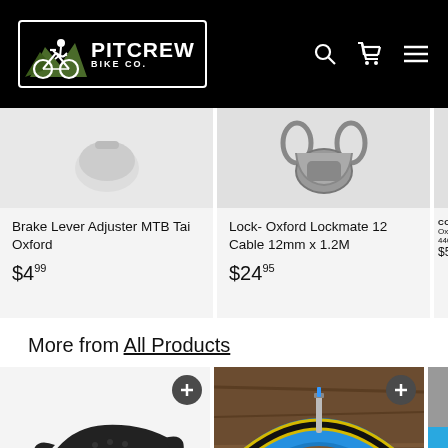[Figure (logo): PitCrew Bike Co. logo with mountain biker on black background with navigation icons]
[Figure (photo): Brake Lever Adjuster MTB Tai Oxford product image, light background]
Brake Lever Adjuster MTB Tai Oxford
$4.99
[Figure (photo): Lock- Oxford Lockmate 12 Cable 12mm x 1.2M product image showing cable lock]
Lock- Oxford Lockmate 12 Cable 12mm x 1.2M
$24.95
CONTAC
Oxford 440mm
$54.99
More from All Products
[Figure (photo): Black bicycle saddle product image on light background]
[Figure (photo): Blue bicycle wheel with tubeless valve, Bead Bite tubeless, on wooden background]
[Figure (photo): Partial view of a third product, blue and grey]